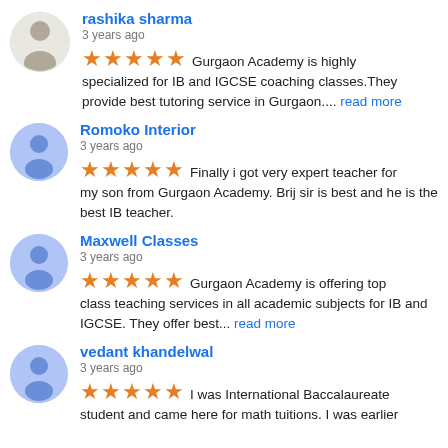rashika sharma — 3 years ago — Gurgaon Academy is highly specialized for IB and IGCSE coaching classes.They provide best tutoring service in Gurgaon.... read more
Romoko Interior — 3 years ago — Finally i got very expert teacher for my son from Gurgaon Academy. Brij sir is best and he is the best IB teacher.
Maxwell Classes — 3 years ago — Gurgaon Academy is offering top class teaching services in all academic subjects for IB and IGCSE. They offer best... read more
vedant khandelwal — 3 years ago — I was International Baccalaureate student and came here for math tuitions. I was earlier